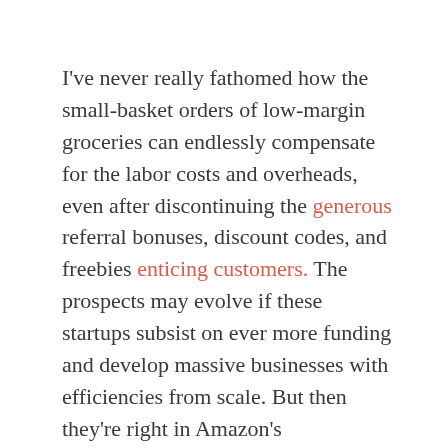I've never really fathomed how the small-basket orders of low-margin groceries can endlessly compensate for the labor costs and overheads, even after discontinuing the generous referral bonuses, discount codes, and freebies enticing customers. The prospects may evolve if these startups subsist on ever more funding and develop massive businesses with efficiencies from scale. But then they're right in Amazon's wheelhouse.